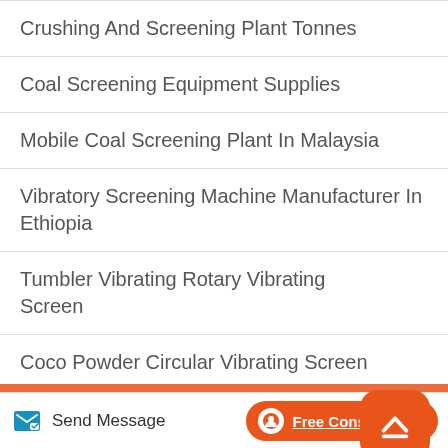Crushing And Screening Plant Tonnes
Coal Screening Equipment Supplies
Mobile Coal Screening Plant In Malaysia
Vibratory Screening Machine Manufacturer In Ethiopia
Tumbler Vibrating Rotary Vibrating Screen
Coco Powder Circular Vibrating Screen
Layout Shaft Assembly For Vibrating Screens
Largest Sand Screening Machine
Send Message   Free Consultation